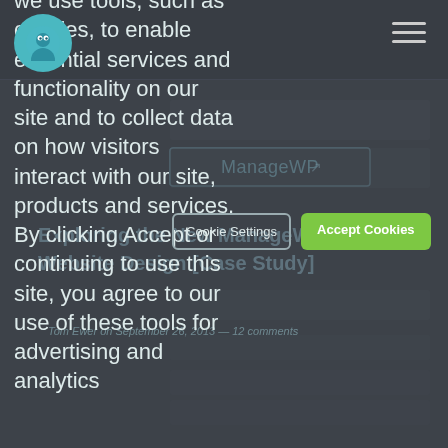[Figure (screenshot): Website screenshot background showing ManageWP branding, dark header with logo circle, hamburger menu, article title 'Exploring the New ManageWP Website Design [Case Study]', byline with author and date.]
We use tools, such as cookies, to enable essential services and functionality on our site and to collect data on how visitors interact with our site, products and services. By clicking Accept or continuing to use this site, you agree to our use of these tools for advertising and analytics
Cookie Settings
Accept Cookies